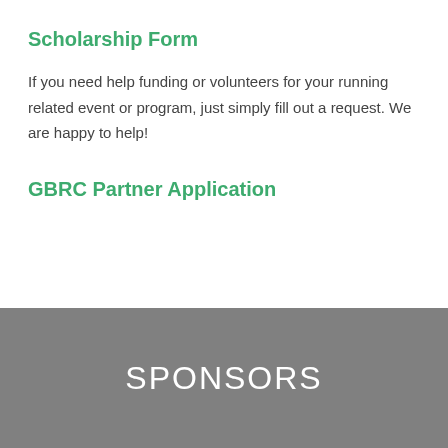Scholarship Form
If you need help funding or volunteers for your running related event or program, just simply fill out a request. We are happy to help!
GBRC Partner Application
SPONSORS